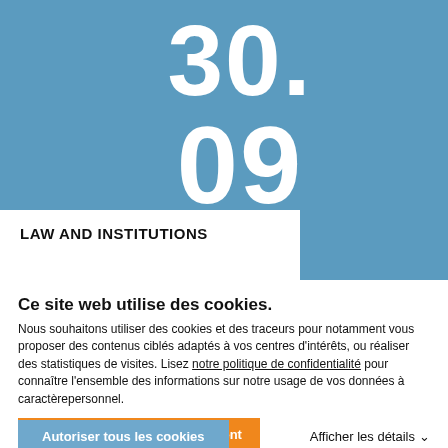[Figure (other): Blue banner with large white numbers '30.' on top line and '09' on second line, with a white tab at bottom-left containing the label 'LAW AND INSTITUTIONS']
LAW AND INSTITUTIONS
Ce site web utilise des cookies.
Nous souhaitons utiliser des cookies et des traceurs pour notamment vous proposer des contenus ciblés adaptés à vos centres d'intérêts, ou réaliser des statistiques de visites. Lisez notre politique de confidentialité pour connaître l'ensemble des informations sur notre usage de vos données à caractèrepersonnel.
Cookies nécessaires uniquement
Autoriser tous les cookies
Afficher les détails